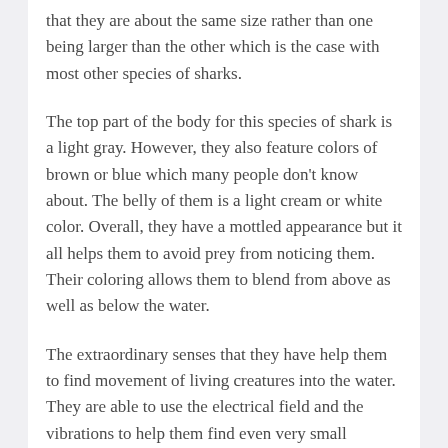that they are about the same size rather than one being larger than the other which is the case with most other species of sharks.
The top part of the body for this species of shark is a light gray. However, they also feature colors of brown or blue which many people don't know about. The belly of them is a light cream or white color. Overall, they have a mottled appearance but it all helps them to avoid prey from noticing them. Their coloring allows them to blend from above as well as below the water.
The extraordinary senses that they have help them to find movement of living creatures into the water. They are able to use the electrical field and the vibrations to help them find even very small movements. Even for animals that are still, the heart